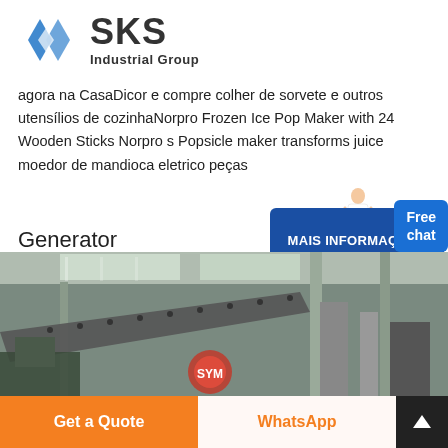[Figure (logo): SKS Industrial Group logo: blue diamond S icon and bold SKS text with 'Industrial Group' subtitle]
agora na CasaDicor e compre colher de sorvete e outros utensílios de cozinhaNorpro Frozen Ice Pop Maker with 24 Wooden Sticks Norpro s Popsicle maker transforms juice moedor de mandioca eletrico peças
Generator
[Figure (photo): Interior of a large industrial factory/warehouse with heavy machinery, large perforated metal panels, structural columns, natural light from roof panels, and industrial equipment visible throughout.]
MAIS INFORMAÇÕES
Free chat
Get a Quote
WhatsApp